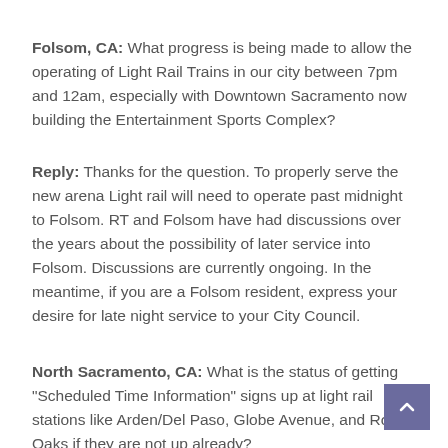Folsom, CA:  What progress is being made to allow the operating of Light Rail Trains in our city between 7pm and 12am, especially with Downtown Sacramento now building the Entertainment Sports Complex?
Reply:  Thanks for the question. To properly serve the new arena Light rail will need to operate past midnight to Folsom. RT and Folsom have had discussions over the years about the possibility of later service into Folsom. Discussions are currently ongoing. In the meantime, if you are a Folsom resident, express your desire for late night service to your City Council.
North Sacramento, CA:  What is the status of getting "Scheduled Time Information" signs up at light rail stations like Arden/Del Paso, Globe Avenue, and Royal Oaks if they are not up already?